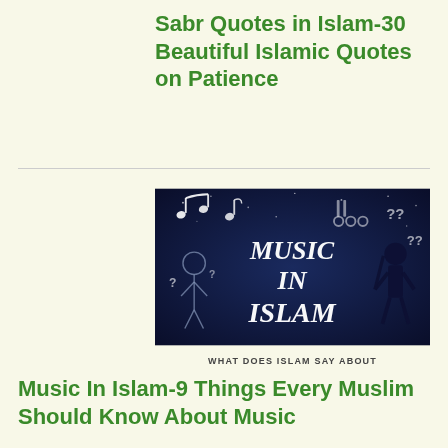Sabr Quotes in Islam-30 Beautiful Islamic Quotes on Patience
[Figure (illustration): Thumbnail image with dark blue starry background showing music notes floating in the sky, a silhouette of a person on the right with question marks, a cartoon sketched figure on the left, and large white italic text reading 'MUSIC IN ISLAM' in the center.]
WHAT DOES ISLAM SAY ABOUT
Music In Islam-9 Things Every Muslim Should Know About Music